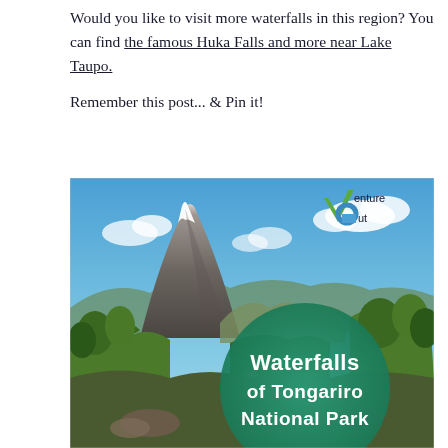Would you like to visit more waterfalls in this region? You can find the famous Huka Falls and more near Lake Taupo.
Remember this post... & Pin it!
[Figure (photo): Promotional travel photo showing a volcanic mountain peak (likely Mt. Ngauruhoe in Tongariro National Park) under blue sky with clouds, lush green vegetation and a rocky path in the foreground. A green circular badge reads 'Waterfalls of Tongariro National Park' in white bold text. The 'Venture Out' logo appears in the top-right corner.]